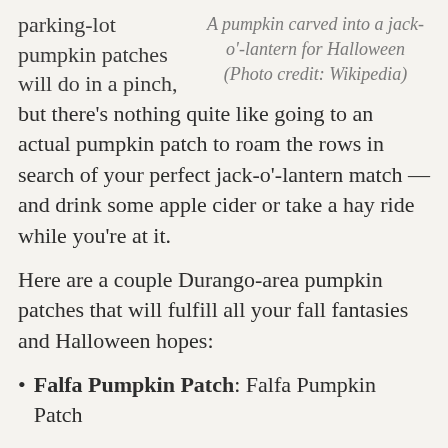parking-lot pumpkin patches will do in a pinch,
A pumpkin carved into a jack-o'-lantern for Halloween (Photo credit: Wikipedia)
but there's nothing quite like going to an actual pumpkin patch to roam the rows in search of your perfect jack-o'-lantern match — and drink some apple cider or take a hay ride while you're at it.
Here are a couple Durango-area pumpkin patches that will fulfill all your fall fantasies and Halloween hopes:
Falfa Pumpkin Patch: Falfa Pumpkin Patch